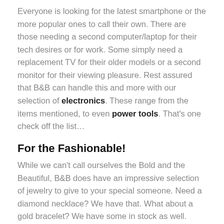Everyone is looking for the latest smartphone or the more popular ones to call their own. There are those needing a second computer/laptop for their tech desires or for work. Some simply need a replacement TV for their older models or a second monitor for their viewing pleasure. Rest assured that B&B can handle this and more with our selection of electronics. These range from the items mentioned, to even power tools. That's one check off the list…
For the Fashionable!
While we can't call ourselves the Bold and the Beautiful, B&B does have an impressive selection of jewelry to give to your special someone. Need a diamond necklace? We have that. What about a gold bracelet? We have some in stock as well. Need a fine pair of silver/gold earrings? We have them too! Just stop by and see what we have in store for your fine accessory needs. Not into jewelry but a connoisseur of precious metals? We do also sell gold/silver/diamonds by their individual pieces as well. Ask any of our staff members for details and make the purchase to impress your significant